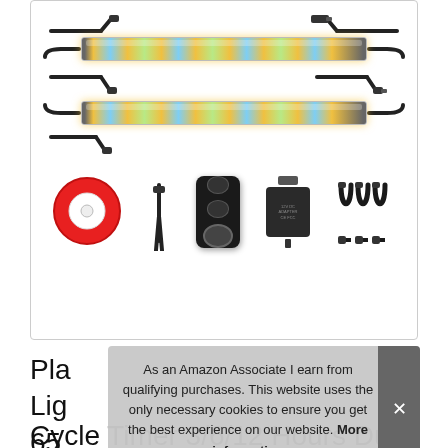[Figure (photo): Product photo showing LED grow light strips kit with accessories: two LED strip bars with cables, red double-sided tape roll, cable ties, controller/dimmer, power adapter, and connector cables]
Pla
Lig
65
Cycle Timer 3/6/12 Hours Dual Channel
As an Amazon Associate I earn from qualifying purchases. This website uses the only necessary cookies to ensure you get the best experience on our website. More information